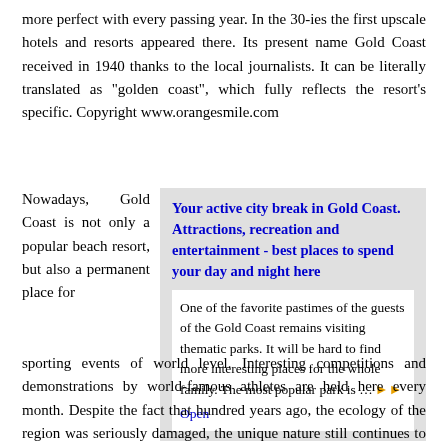more perfect with every passing year. In the 30-ies the first upscale hotels and resorts appeared there. Its present name Gold Coast received in 1940 thanks to the local journalists. It can be literally translated as "golden coast", which fully reflects the resort's specific. Copyright www.orangesmile.com
Nowadays, Gold Coast is not only a popular beach resort, but also a permanent place for sporting events of world level. Interesting competitions and demonstrations by world-famous athletes are held here every month. Despite the fact that hundred years ago, the ecology of the region was seriously damaged, the unique nature still continues to be one of the main features of the city. Travelers will be able to stroll through the picturesque rainforest and
Your active city break in Gold Coast. Attractions, recreation and entertainment - best places to spend your day and night here
One of the favorite pastimes of the guests of the Gold Coast remains visiting thematic parks. It will be hard to find more interesting places for the whole family. The most popular park is ... Open